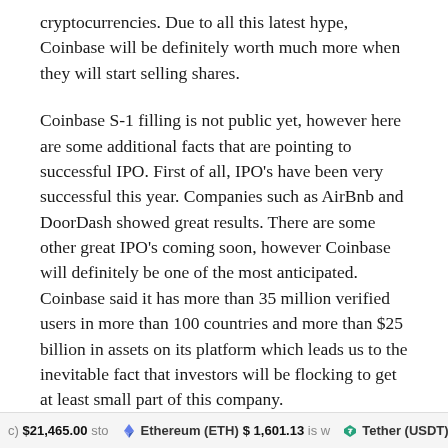cryptocurrencies. Due to all this latest hype, Coinbase will be definitely worth much more when they will start selling shares.
Coinbase S-1 filling is not public yet, however here are some additional facts that are pointing to successful IPO. First of all, IPO's have been very successful this year. Companies such as AirBnb and DoorDash showed great results. There are some other great IPO's coming soon, however Coinbase will definitely be one of the most anticipated. Coinbase said it has more than 35 million verified users in more than 100 countries and more than $25 billion in assets on its platform which leads us to the inevitable fact that investors will be flocking to get at least small part of this company.
c) $21,465.00 stock in Ethereum (ETH) $1,601.13 is worth Tether (USDT) $